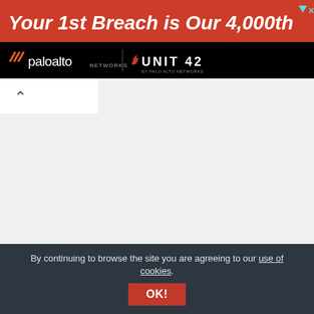[Figure (screenshot): Red advertisement banner with white bold italic text reading 'Your 1st Breach is Our 4,000th' with close/info icons in top right]
[Figure (logo): Black brand bar with Palo Alto Networks logo on left, vertical divider, and UNIT 42 logo on right]
[Figure (screenshot): White tab/collapse area with a caret-up chevron icon]
More News:
By continuing to browse the site you are agreeing to our use of cookies.